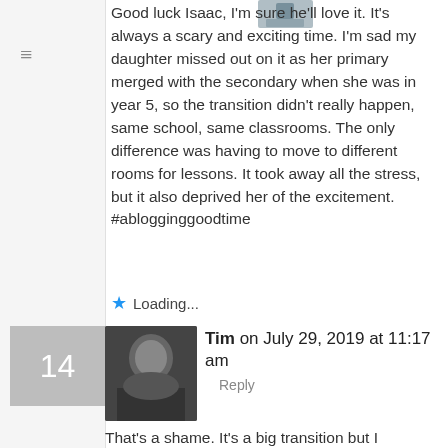[Figure (photo): Small avatar/thumbnail image in upper area]
Good luck Isaac, I'm sure he'll love it. It's always a scary and exciting time. I'm sad my daughter missed out on it as her primary merged with the secondary when she was in year 5, so the transition didn't really happen, same school, same classrooms. The only difference was having to move to different rooms for lessons. It took away all the stress, but it also deprived her of the excitement. #ablogginggoodtime
★ Loading...
14
[Figure (photo): Profile photo of Tim — man in glasses and suit]
Tim on July 29, 2019 at 11:17 am
Reply
That's a shame. It's a big transition but I genuinely think it will be the making of Isaac. He'll make new friends and find